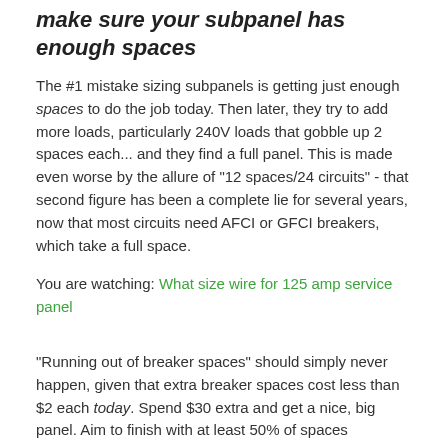make sure your subpanel has enough spaces
The #1 mistake sizing subpanels is getting just enough spaces to do the job today. Then later, they try to add more loads, particularly 240V loads that gobble up 2 spaces each... and they find a full panel. This is made even worse by the allure of "12 spaces/24 circuits" - that second figure has been a complete lie for several years, now that most circuits need AFCI or GFCI breakers, which take a full space.
You are watching: What size wire for 125 amp service panel
"Running out of breaker spaces" should simply never happen, given that extra breaker spaces cost less than $2 each today. Spend $30 extra and get a nice, big panel. Aim to finish with at least 50% of spaces